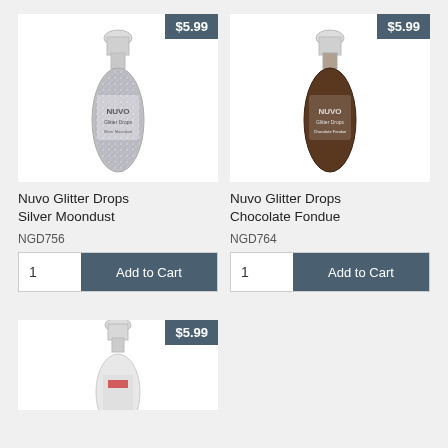[Figure (photo): Nuvo Glitter Drops Silver Moondust bottle with clear dropper top, silver glitter liquid, price badge $5.99]
Nuvo Glitter Drops Silver Moondust
NGD756
1   Add to Cart
[Figure (photo): Nuvo Glitter Drops Chocolate Fondue bottle with clear dropper top, dark brown liquid, price badge $5.99]
Nuvo Glitter Drops Chocolate Fondue
NGD764
1   Add to Cart
[Figure (photo): Partial view of a Nuvo product bottle with clear top and red accent, price badge $5.99]